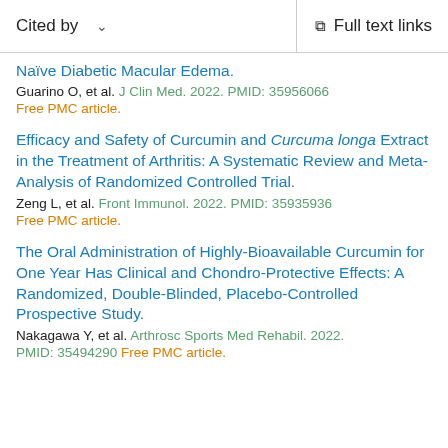Cited by   ∨   Full text links
Naïve Diabetic Macular Edema.
Guarino O, et al. J Clin Med. 2022. PMID: 35956066
Free PMC article.
Efficacy and Safety of Curcumin and Curcuma longa Extract in the Treatment of Arthritis: A Systematic Review and Meta-Analysis of Randomized Controlled Trial.
Zeng L, et al. Front Immunol. 2022. PMID: 35935936
Free PMC article.
The Oral Administration of Highly-Bioavailable Curcumin for One Year Has Clinical and Chondro-Protective Effects: A Randomized, Double-Blinded, Placebo-Controlled Prospective Study.
Nakagawa Y, et al. Arthrosc Sports Med Rehabil. 2022.
PMID: 35494290 Free PMC article.